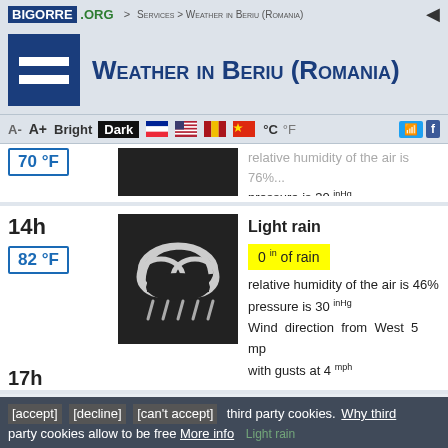BIGORRE .ORG > Services > Weather in Beriu (Romania)
Weather in Beriu (Romania)
A- A+ Bright Dark °C °F
70 °F — pressure is 30 inHg — Wind direction from South West mph with gusts at 2 mph
14h — 82 °F — Light rain — 0 in of rain — relative humidity of the air is 46% — pressure is 30 inHg — Wind direction from West 5 mph with gusts at 4 mph
[accept] [decline] [can't accept] third party cookies. Why third party cookies allow to be free More info